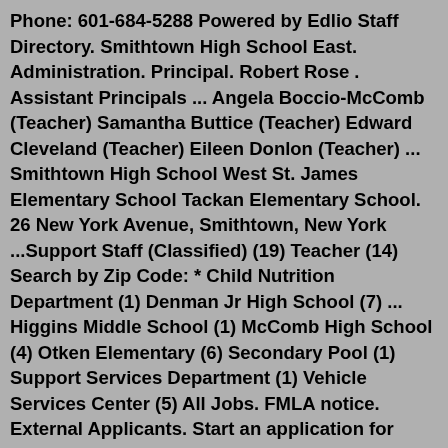Phone: 601-684-5288 Powered by Edlio Staff Directory. Smithtown High School East. Administration. Principal. Robert Rose . Assistant Principals ... Angela Boccio-McComb (Teacher) Samantha Buttice (Teacher) Edward Cleveland (Teacher) Eileen Donlon (Teacher) ... Smithtown High School West St. James Elementary School Tackan Elementary School. 26 New York Avenue, Smithtown, New York ...Support Staff (Classified) (19) Teacher (14) Search by Zip Code: * Child Nutrition Department (1) Denman Jr High School (7) ... Higgins Middle School (1) McComb High School (4) Otken Elementary (6) Secondary Pool (1) Support Services Department (1) Vehicle Services Center (5) All Jobs. FMLA notice. External Applicants. Start an application for ...The McComb School District completes all teaching experience/employment verifictions through Verifent. McComb High School 310 7th Street, McComb, MS 39648 Phone: 601-684-5678High School Math Teacher (Former Employee) - MCCOMB HIGH SCHOOL - November 7, 2018...